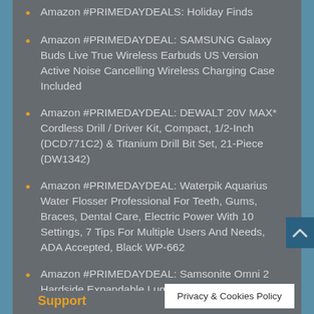Amazon #PRIMEDAYDEALS: Holiday Finds
Amazon #PRIMEDAYDEAL: SAMSUNG Galaxy Buds Live True Wireless Earbuds US Version Active Noise Cancelling Wireless Charging Case Included
Amazon #PRIMEDAYDEAL: DEWALT 20V MAX* Cordless Drill / Driver Kit, Compact, 1/2-Inch (DCD771C2) & Titanium Drill Bit Set, 21-Piece (DW1342)
Amazon #PRIMEDAYDEAL: Waterpik Aquarius Water Flosser Professional For Teeth, Gums, Braces, Dental Care, Electric Power With 10 Settings, 7 Tips For Multiple Users And Needs, ADA Accepted, Black WP-662
Amazon #PRIMEDAYDEAL: Samsonite Omni 2 Hardside Expandable Luggage
Support
Privacy & Cookies Policy